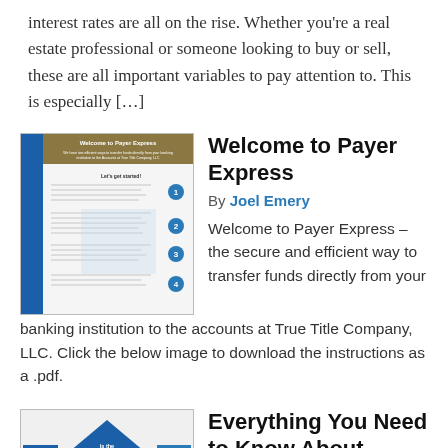interest rates are all on the rise. Whether you're a real estate professional or someone looking to buy or sell, these are all important variables to pay attention to. This is especially […]
[Figure (screenshot): Thumbnail image of a 'Welcome to Payer Express' instructional document with numbered steps and blue sidebar]
Welcome to Payer Express
By Joel Emery
Welcome to Payer Express – the secure and efficient way to transfer funds directly from your banking institution to the accounts at True Title Company, LLC. Click the below image to download the instructions as a .pdf.
[Figure (flowchart): Partial thumbnail of a FIRPTA flowchart with diamond decision shapes, NO and YES labels]
Everything You Need to Know About FIRPTA – as